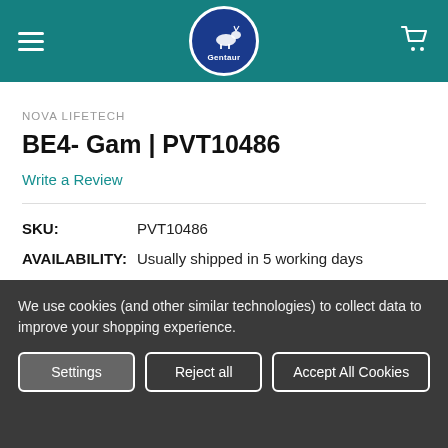Gentaur
NOVA LIFETECH
BE4- Gam | PVT10486
Write a Review
SKU: PVT10486
AVAILABILITY: Usually shipped in 5 working days
SIZE: 2 ug
We use cookies (and other similar technologies) to collect data to improve your shopping experience.
Settings | Reject all | Accept All Cookies